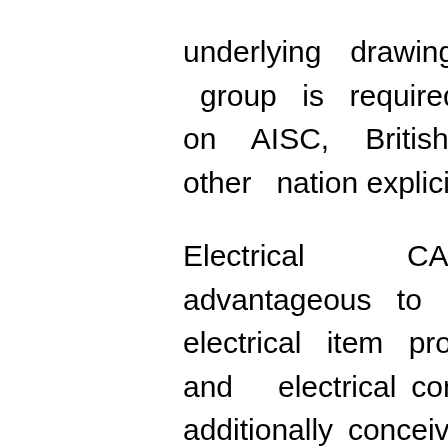underlying drawing, to manage it, encountered group is required with acceptable information on AISC, British Codes, Osha Rules and other nation explicit codes and standards.

Electrical CAD administration is advantageous to electrical designing designers, electrical item producers, unique gear makers, and electrical contractual workers. It is additionally conceivable to make channeling attracting cad services near me. Each possible liquid is handled in lines during its creation, preparing, transportation and use. It includes both orthographic and isometric pipes and funneling drawings. It is conceivable to change